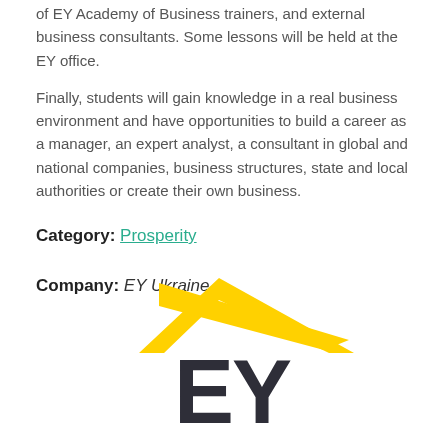of EY Academy of Business trainers, and external business consultants. Some lessons will be held at the EY office.
Finally, students will gain knowledge in a real business environment and have opportunities to build a career as a manager, an expert analyst, a consultant in global and national companies, business structures, state and local authorities or create their own business.
Category: Prosperity
Company: EY Ukraine
[Figure (logo): EY (Ernst & Young) logo with yellow triangle/chevron shape above bold dark 'EY' letters]